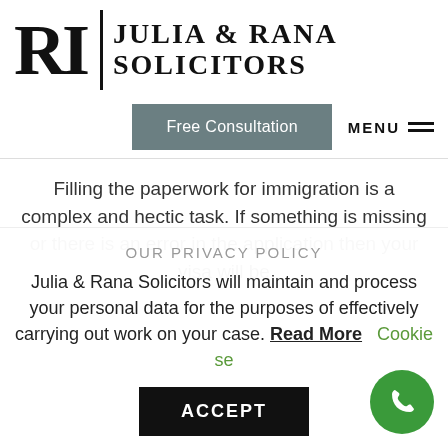[Figure (logo): Julia & Rana Solicitors logo with stylized RI symbol and vertical bar divider]
[Figure (other): Navigation bar with Free Consultation button and MENU hamburger icon]
Filling the paperwork for immigration is a complex and hectic task. If something is missing or there is an error in the application then your visa will be
OUR PRIVACY POLICY
Julia & Rana Solicitors will maintain and process your personal data for the purposes of effectively carrying out work on your case. Read More   Cookie se
ACCEPT